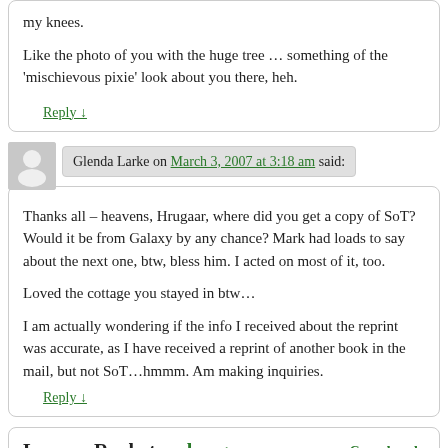my knees.

Like the photo of you with the huge tree … something of the 'mischievous pixie' look about you there, heh.
Reply ↓
Glenda Larke on March 3, 2007 at 3:18 am said:
Thanks all – heavens, Hrugaar, where did you get a copy of SoT? Would it be from Galaxy by any chance? Mark had loads to say about the next one, btw, bless him. I acted on most of it, too.

Loved the cottage you stayed in btw…

I am actually wondering if the info I received about the reprint was accurate, as I have received a reprint of another book in the mail, but not SoT…hmmm. Am making inquiries.
Reply ↓
Leave a Reply to hrugaar   Cancel reply